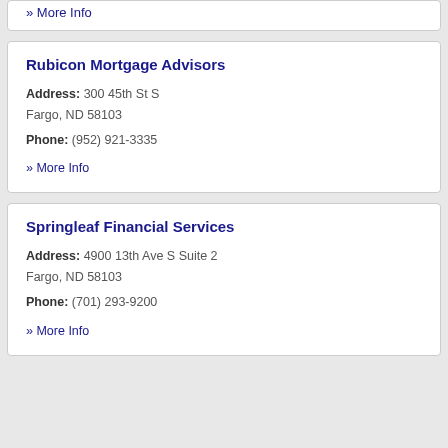» More Info
Rubicon Mortgage Advisors
Address: 300 45th St S
Fargo, ND 58103
Phone: (952) 921-3335
» More Info
Springleaf Financial Services
Address: 4900 13th Ave S Suite 2
Fargo, ND 58103
Phone: (701) 293-9200
» More Info